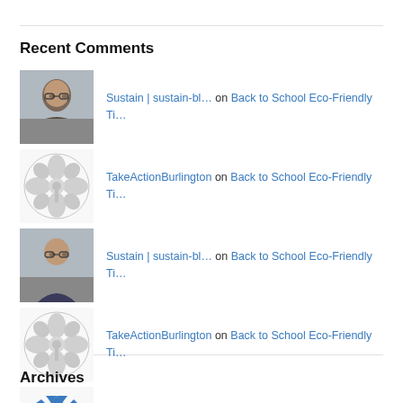Recent Comments
Sustain | sustain-bl… on Back to School Eco-Friendly Ti…
TakeActionBurlington on Back to School Eco-Friendly Ti…
Sustain | sustain-bl… on Back to School Eco-Friendly Ti…
TakeActionBurlington on Back to School Eco-Friendly Ti…
Doug Brown on Back to School Eco-Friendly Ti…
Archives